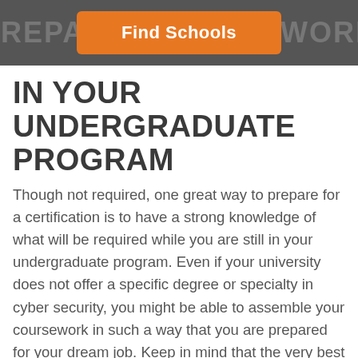[Figure (other): Orange 'Find Schools' button overlaid on a dark grey header bar with large faded text reading 'PREPARE ... Y WORK']
IN YOUR UNDERGRADUATE PROGRAM
Though not required, one great way to prepare for a certification is to have a strong knowledge of what will be required while you are still in your undergraduate program. Even if your university does not offer a specific degree or specialty in cyber security, you might be able to assemble your coursework in such a way that you are prepared for your dream job. Keep in mind that the very best cyber security programs have interdisciplinary features. Given that, you can discuss your goals with an advisor and piece together a curriculum that satisfies your university's requirements for, a computer